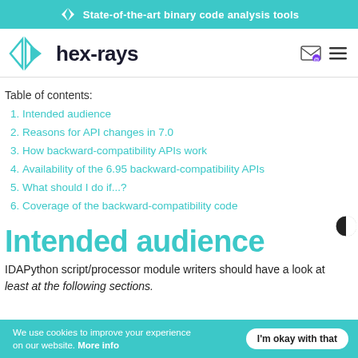State-of-the-art binary code analysis tools
[Figure (logo): Hex-Rays logo with teal triangular arrows and bold text 'hex-rays']
Table of contents:
1. Intended audience
2. Reasons for API changes in 7.0
3. How backward-compatibility APIs work
4. Availability of the 6.95 backward-compatibility APIs
5. What should I do if...?
6. Coverage of the backward-compatibility code
Intended audience
IDAPython script/processor module writers should have a look at least at the following sections.
We use cookies to improve your experience on our website. More info